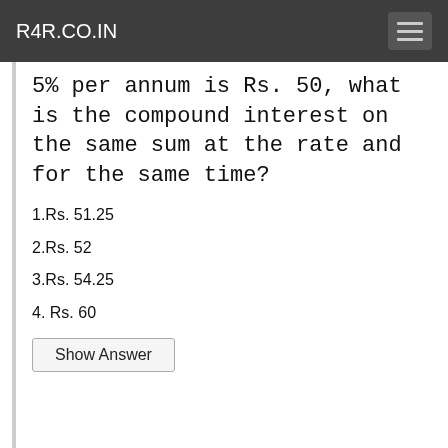R4R.CO.IN
5% per annum is Rs. 50, what is the compound interest on the same sum at the rate and for the same time?
1.Rs. 51.25
2.Rs. 52
3.Rs. 54.25
4. Rs. 60
Show Answer